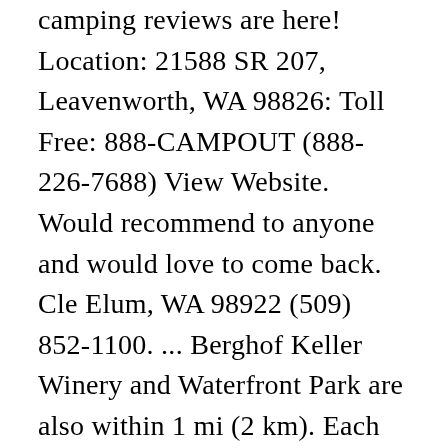camping reviews are here! Location: 21588 SR 207, Leavenworth, WA 98826: Toll Free: 888-CAMPOUT (888-226-7688) View Website. Would recommend to anyone and would love to come back. Cle Elum, WA 98922 (509) 852-1100. ... Berghof Keller Winery and Waterfront Park are also within 1 mi (2 km). Each year, two to three million people visit the Bavarian Village of Leavenworth, located 17 miles from the RV camp in Washington. Chelan County Expo Center. Each cabin can house up to ... Book online for instant Confirmation and 24/7 Live Support! Come marvel at our authentic architecture, bask in our German experience wrapped in northwest hospitality. In the cold